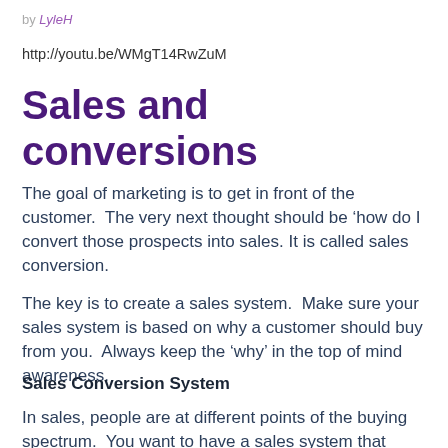by LyleH
http://youtu.be/WMgT14RwZuM
Sales and conversions
The goal of marketing is to get in front of the customer.  The very next thought should be ‘how do I convert those prospects into sales. It is called sales conversion.
The key is to create a sales system.  Make sure your sales system is based on why a customer should buy from you.  Always keep the ‘why’ in the top of mind awareness.
Sales Conversion System
In sales, people are at different points of the buying spectrum.  You want to have a sales system that identifies where they are and brings them to the next step.  Leads